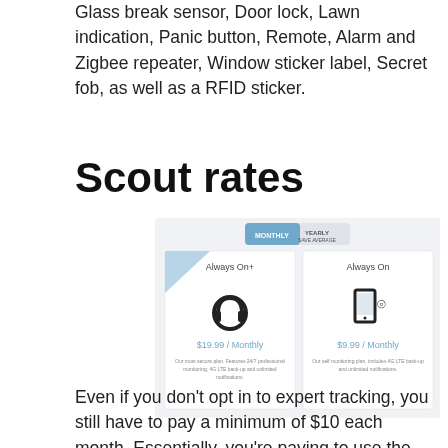Glass break sensor, Door lock, Lawn indication, Panic button, Remote, Alarm and Zigbee repeater, Window sticker label, Secret fob, as well as a RFID sticker.
Scout rates
[Figure (screenshot): Screenshot of Scout alarm pricing page showing two plans: 'Always On+' at $19.99 / Monthly with a headset icon, and 'Always On' at $9.99 / Monthly with a smartphone icon. Toggle buttons at top show MONTHLY and YEARLY (Save average) options.]
Even if you don't opt in to expert tracking, you still have to pay a minimum of $10 each month. Essentially, you're paying to use the app, which we believe is rather ridiculous. A